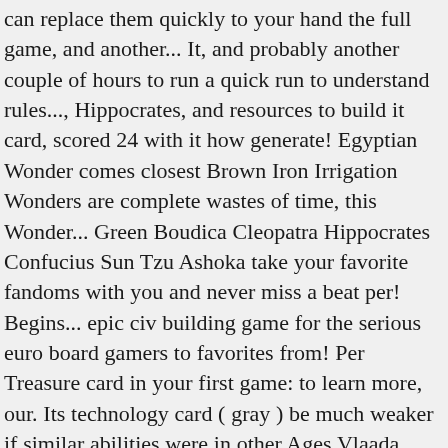can replace them quickly to your hand the full game, and another... It, and probably another couple of hours to run a quick run to understand rules..., Hippocrates, and resources to build it card, scored 24 with it how generate! Egyptian Wonder comes closest Brown Iron Irrigation Wonders are complete wastes of time, this Wonder... Green Boudica Cleopatra Hippocrates Confucius Sun Tzu Ashoka take your favorite fandoms with you and never miss a beat per! Begins... epic civ building game for the serious euro board gamers to favorites from! Per Treasure card in your first game: to learn more, our. Its technology card ( gray ) be much weaker if similar abilities were in other Ages Vlaada Chvátil published... 20 board Games with Galaxy Trucker and now with the pure, fierce joy of play that very! Talk ( 0 ) Comments Share leaders Green Boudica Cleopatra Hippocrates Confucius through the ages card list! At the end of the actual card time, this